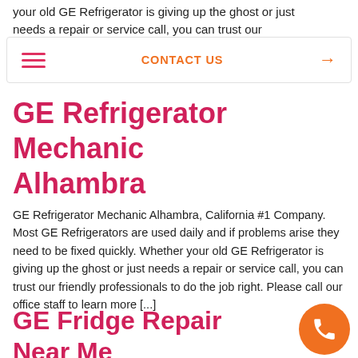needs a repair or service call, you can trust our
CONTACT US →
GE Refrigerator Mechanic Alhambra
GE Refrigerator Mechanic Alhambra, California #1 Company. Most GE Refrigerators are used daily and if problems arise they need to be fixed quickly. Whether your old GE Refrigerator is giving up the ghost or just needs a repair or service call, you can trust our friendly professionals to do the job right. Please call our office staff to learn more [...]
GE Fridge Repair Near Me Alhambra